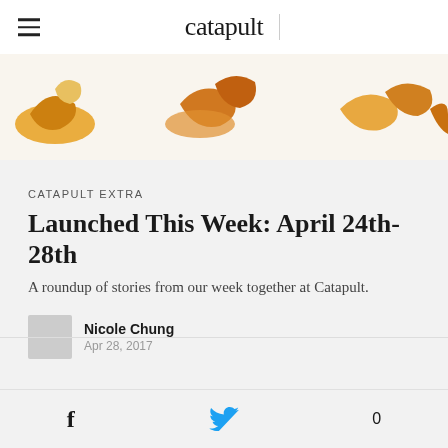catapult
[Figure (illustration): Illustrated decorative shoes and feet in orange, tan, and brown tones against a light background]
CATAPULT EXTRA
Launched This Week: April 24th-28th
A roundup of stories from our week together at Catapult.
Nicole Chung
Apr 28, 2017
f  🐦  0